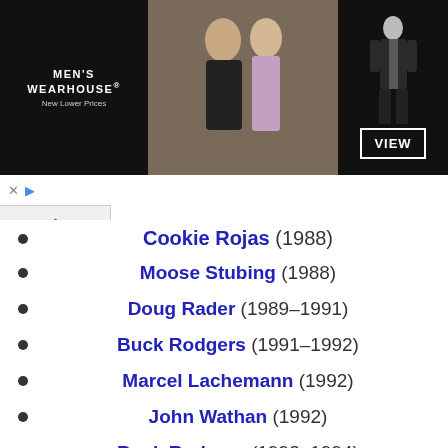[Figure (photo): Men's Wearhouse advertisement banner showing a couple in formal wear and a man in a suit, with VIEW button]
Cookie Rojas (1988)
Moose Stubing (1988)
Doug Rader (1989–1991)
Buck Rodgers (1991–1992)
Marcel Lachemann (1992)
John Wathan (1992)
Buck Rodgers (1993–1994)
Marcel Lachemann (1994–1996)
John McNamara (1996)
Joe Maddon (1996)
Terry Collins (1997–1999)
Joe Maddon (1999)
Mike Scioscia (2000–2018)
Brad Ausmus (2019)
Joe Maddon (2020–2022)